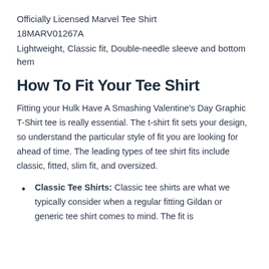Officially Licensed Marvel Tee Shirt
18MARV01267A
Lightweight, Classic fit, Double-needle sleeve and bottom hem
How To Fit Your Tee Shirt
Fitting your Hulk Have A Smashing Valentine’s Day Graphic T-Shirt tee is really essential. The t-shirt fit sets your design, so understand the particular style of fit you are looking for ahead of time. The leading types of tee shirt fits include classic, fitted, slim fit, and oversized.
Classic Tee Shirts: Classic tee shirts are what we typically consider when a regular fitting Gildan or generic tee shirt comes to mind. The fit is